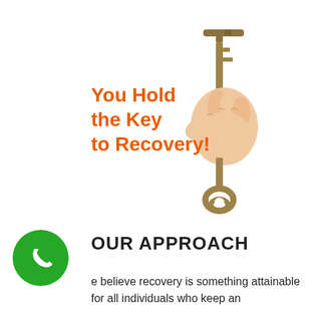[Figure (photo): A hand gripping an old-fashioned skeleton key, holding it up against a white background.]
You Hold the Key to Recovery!
OUR APPROACH
[Figure (illustration): Green circle phone icon button]
e believe recovery is something attainable for all individuals who keep an